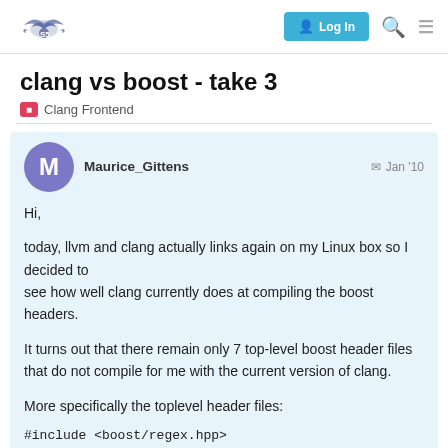Log In
clang vs boost - take 3
Clang Frontend
Maurice_Gittens   Jan '10

Hi,

today, llvm and clang actually links again on my Linux box so I decided to see how well clang currently does at compiling the boost headers.

It turns out that there remain only 7 top-level boost header files that do not compile for me with the current version of clang.

More specifically the toplevel header files:

#include <boost/regex.hpp>
1 / 6